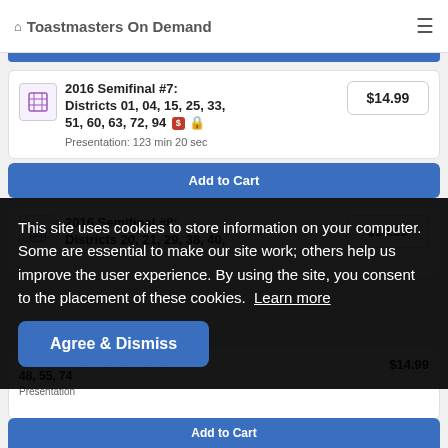Toastmasters On Demand
2016 Semifinal #7: Districts 01, 04, 15, 25, 33, 51, 60, 63, 72, 94 — Presentation: 123 min 20 sec — $14.99
Add to Cart
2016 Semifinal #8: Districts 20, 21, 29, 38, 40... $14.99
This site uses cookies to store information on your computer. Some are essential to make our site work; others help us improve the user experience. By using the site, you consent to the placement of these cookies. Learn more
Agree & Dismiss
Districts 03, 07, 08, 14, 23, 48, 55, 74...
Add to Cart